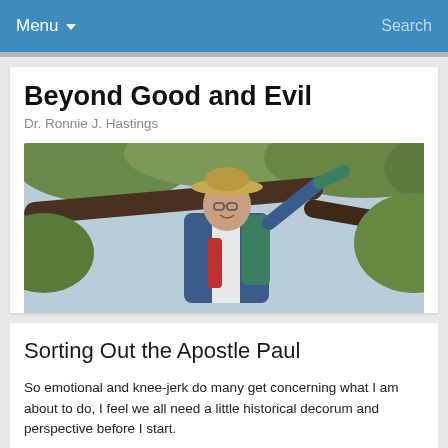Menu ▾   Search
Beyond Good and Evil
Dr. Ronnie J. Hastings
[Figure (photo): A man wearing a straw hat and glasses smiling outdoors, leaning on a tree branch with green foliage and sky in the background, wearing a colorful jacket.]
Sorting Out the Apostle Paul
So emotional and knee-jerk do many get concerning what I am about to do, I feel we all need a little historical decorum and perspective before I start.
If you think I really had problems with public education (What is Wrong with Public Education…), they may have been exceeded in church